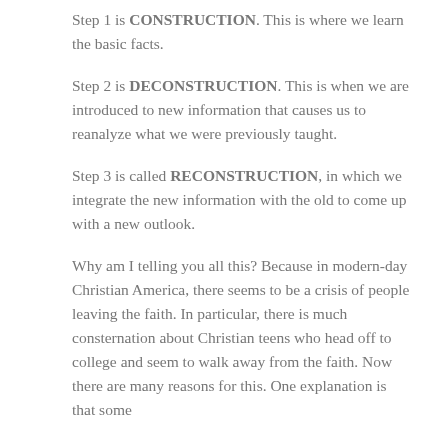Step 1 is CONSTRUCTION. This is where we learn the basic facts.
Step 2 is DECONSTRUCTION. This is when we are introduced to new information that causes us to reanalyze what we were previously taught.
Step 3 is called RECONSTRUCTION, in which we integrate the new information with the old to come up with a new outlook.
Why am I telling you all this? Because in modern-day Christian America, there seems to be a crisis of people leaving the faith. In particular, there is much consternation about Christian teens who head off to college and seem to walk away from the faith. Now there are many reasons for this. One explanation is that some